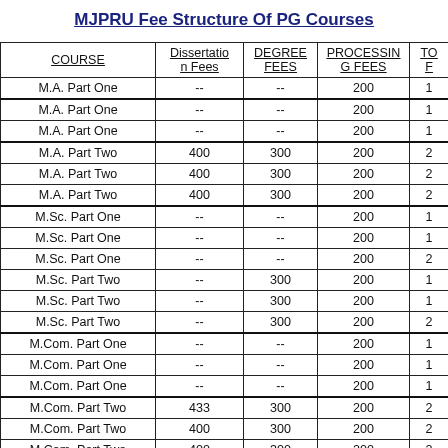MJPRU Fee Structure Of PG Courses
| COURSE | Dissertation Fees | DEGREE FEES | PROCESSING FEES | TO F |
| --- | --- | --- | --- | --- |
| M.A. Part One | -- | -- | 200 | 1 |
| M.A. Part One | -- | -- | 200 | 1 |
| M.A. Part One | -- | -- | 200 | 1 |
| M.A. Part Two | 400 | 300 | 200 | 2 |
| M.A. Part Two | 400 | 300 | 200 | 2 |
| M.A. Part Two | 400 | 300 | 200 | 2 |
| M.Sc. Part One | -- | -- | 200 | 1 |
| M.Sc. Part One | -- | -- | 200 | 1 |
| M.Sc. Part One | -- | -- | 200 | 2 |
| M.Sc. Part Two | -- | 300 | 200 | 1 |
| M.Sc. Part Two | -- | 300 | 200 | 1 |
| M.Sc. Part Two | -- | 300 | 200 | 2 |
| M.Com. Part One | -- | -- | 200 | 1 |
| M.Com. Part One | -- | -- | 200 | 1 |
| M.Com. Part One | -- | -- | 200 | 1 |
| M.Com. Part Two | 433 | 300 | 200 | 2 |
| M.Com. Part Two | 400 | 300 | 200 | 2 |
| M.Com. Part Two | 400 | 300 | 200 | 2 |